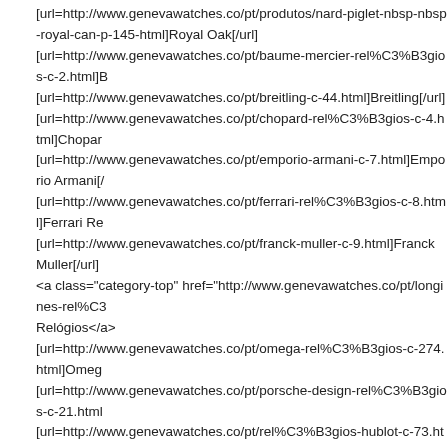[url=http://www.genevawatches.co/pt/produtos/nard-piglet-nbsp-nbsp-royal-oak-p-145.html]Royal Oak[/url] [url=http://www.genevawatches.co/pt/baume-mercier-rel%C3%B3gios-c-2.html]Baume Mercier[/url] [url=http://www.genevawatches.co/pt/breitling-c-44.html]Breitling[/url] [url=http://www.genevawatches.co/pt/chopard-rel%C3%B3gios-c-4.html]Chopard[/url] [url=http://www.genevawatches.co/pt/emporio-armani-c-7.html]Emporio Armani[/url] [url=http://www.genevawatches.co/pt/ferrari-rel%C3%B3gios-c-8.html]Ferrari Re[/url] [url=http://www.genevawatches.co/pt/franck-muller-c-9.html]Franck Muller[/url] <a class="category-top" href="http://www.genevawatches.co/pt/longines-rel%C3%">Relógios</a> [url=http://www.genevawatches.co/pt/omega-rel%C3%B3gios-c-274.html]Omega[/url] [url=http://www.genevawatches.co/pt/porsche-design-rel%C3%B3gios-c-21.html][/url] [url=http://www.genevawatches.co/pt/rel%C3%B3gios-hublot-c-73.html]relógios [/url] [url=http://www.genevawatches.co/pt/rel%C3%B3gios-patek-philippe-c-19.html]P[/url] [url=http://www.genevawatches.co/pt/rel%C3%B3gios-rolex-rel%C3%B3gios-c-2]Relógios[/url] [url=http://www.genevawatches.co/pt/rel%C3%B3gios-u-boat-c-23.html]Relógios[/url] [url=http://www.genevawatches.co/pt/tag-heuer-rel%C3%B3gios-c-97.html]Tag H[/url] Destaques - [url=http://www.genevawatches.co/pt/featured_products.html] [mais[/url] [url=http://www.genevawatches.co/pt/replica-quintessential-chopard-rel%C3%B3[/url] [img]http://www.genevawatches.co/pt/images/_small//watches_19/Replica-Chopard-Watches-L5P4-.jpg[/img]Replica Quintessential Chopard Relógios AAA [ L5P4 ][/url] [url=http://www.genevawatches.co/pt/replica-quintessential-chopard-rel%C3%B3]Quintessential Chopard Relógios AAA [ L5P4 ][/url]$1,079.00 $202.00Poupe: 81% menos[url=http://www.genevawatches.co/pt/replica-popular-chopard-gran-turismo-autom%C3%A1tico-com-mostrador-preto-aaa-rel%C3%B3gios-s1e7-p-145.html]